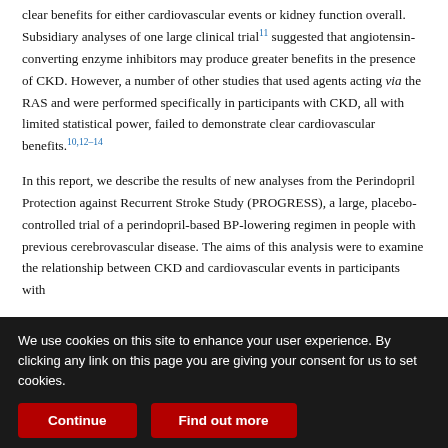clear benefits for either cardiovascular events or kidney function overall. Subsidiary analyses of one large clinical trial11 suggested that angiotensin-converting enzyme inhibitors may produce greater benefits in the presence of CKD. However, a number of other studies that used agents acting via the RAS and were performed specifically in participants with CKD, all with limited statistical power, failed to demonstrate clear cardiovascular benefits.10,12–14
In this report, we describe the results of new analyses from the Perindopril Protection against Recurrent Stroke Study (PROGRESS), a large, placebo-controlled trial of a perindopril-based BP-lowering regimen in people with previous cerebrovascular disease. The aims of this analysis were to examine the relationship between CKD and cardiovascular events in participants with
We use cookies on this site to enhance your user experience. By clicking any link on this page you are giving your consent for us to set cookies.